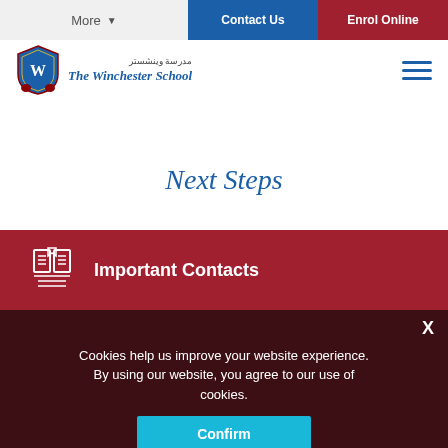More | Contact Us | Enrol Online
[Figure (logo): The Winchester School logo with crest and Arabic text]
Next Steps
Important Contacts
Cookies help us improve your website experience. By using our website, you agree to our use of cookies.
Confirm